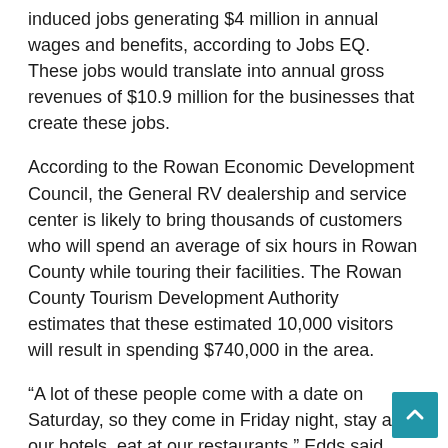induced jobs generating $4 million in annual wages and benefits, according to Jobs EQ. These jobs would translate into annual gross revenues of $10.9 million for the businesses that create these jobs.
According to the Rowan Economic Development Council, the General RV dealership and service center is likely to bring thousands of customers who will spend an average of six hours in Rowan County while touring their facilities. The Rowan County Tourism Development Authority estimates that these estimated 10,000 visitors will result in spending $740,000 in the area.
“A lot of these people come with a date on Saturday, so they come in Friday night, stay at our hotels, eat at our restaurants,” Edds said.
Rowan County projects to collect $1.6 million in property tax revenue from the land over 10 years.